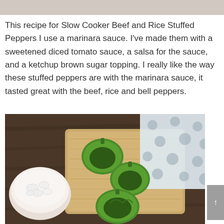[Figure (photo): Partial top image strip, clipped photo at top of page]
This recipe for Slow Cooker Beef and Rice Stuffed Peppers I use a marinara sauce. I've made them with a sweetened diced tomato sauce, a salsa for the sauce, and a ketchup brown sugar topping. I really like the way these stuffed peppers are with the marinara sauce, it tasted great with the beef, rice and bell peppers.
[Figure (photo): Overhead photo of green bell peppers with tops cut off, hollow and ready to be stuffed, arranged on a wooden cutting board. A small white bowl of diced onions is visible on the left. A white fabric with grey polka dots is visible in the upper right. Dark wooden table surface in background.]